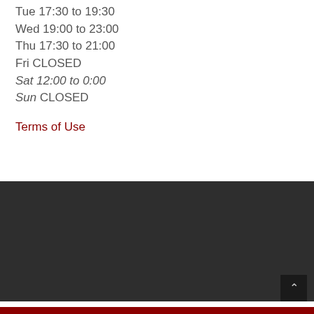Tue 17:30 to 19:30
Wed 19:00 to 23:00
Thu 17:30 to 21:00
Fri CLOSED
Sat 12:00 to 0:00
Sun CLOSED
Terms of Use